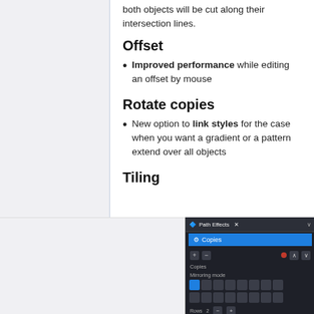both objects will be cut along their intersection lines.
Offset
Improved performance while editing an offset by mouse
Rotate copies
New option to link styles for the case when you want a gradient or a pattern extend over all objects
Tiling
[Figure (screenshot): Path Effects dialog panel showing Copies with mirroring mode icons grid, rows/columns controls]